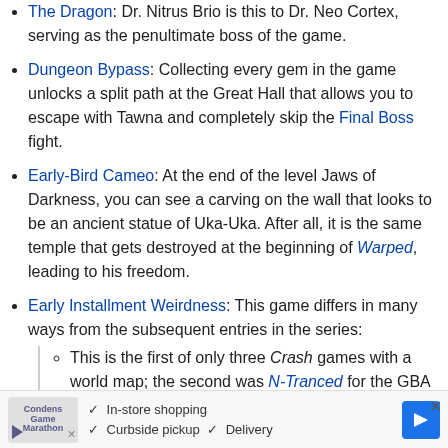The Dragon: Dr. Nitrus Brio is this to Dr. Neo Cortex, serving as the penultimate boss of the game.
Dungeon Bypass: Collecting every gem in the game unlocks a split path at the Great Hall that allows you to escape with Tawna and completely skip the Final Boss fight.
Early-Bird Cameo: At the end of the level Jaws of Darkness, you can see a carving on the wall that looks to be an ancient statue of Uka-Uka. After all, it is the same temple that gets destroyed at the beginning of Warped, leading to his freedom.
Early Installment Weirdness: This game differs in many ways from the subsequent entries in the series:
This is the first of only three Crash games with a world map; the second was N-Tranced for the GBA 7 years later, and the idea of a world map wouldn't be touch
[Figure (other): Advertisement bar at bottom of page showing a store/maps app ad with play button, checkmarks for In-store shopping, Curbside pickup, Delivery, and a blue arrow navigation icon]